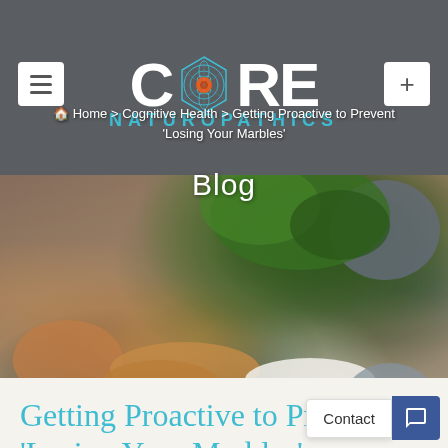[Figure (logo): Core Naturopathics logo with hexagonal mandala icon replacing the O, white text on dark gray background with teal NATUROPATHICS subtitle]
[Figure (photo): Hero photo of natural health supplements: herbs, almonds, pumpkin seeds, white capsules, cinnamon powder, and a mortar and pestle on a wooden surface]
Home > Cognitive Health > Getting Proactive to Prevent 'Losing Your Marbles'
Blog
Getting Proactive to Prevent 'Losing Your Marbles'
Contact